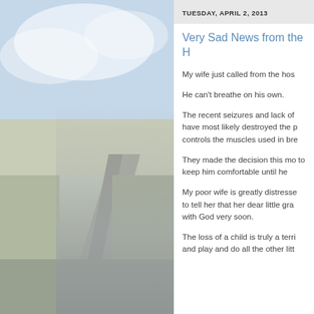[Figure (photo): Blurred background photo of a road stretching into the distance with sky and fields on either side]
TUESDAY, APRIL 2, 2013
Very Sad News from the H
My wife just called from the hos
He can't breathe on his own.
The recent seizures and lack of have most likely destroyed the p controls the muscles used in bre
They made the decision this mo to keep him comfortable until he
My poor wife is greatly distresse to tell her that her dear little gra with God very soon.
The loss of a child is truly a terri and play and do all the other litt